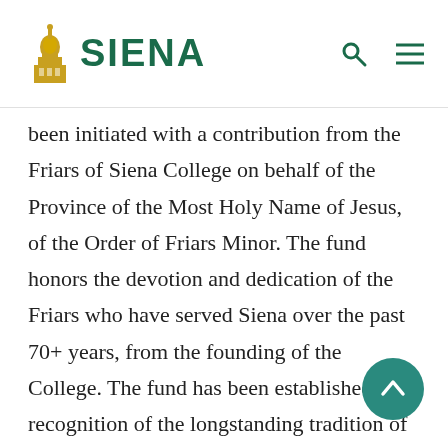SIENA
been initiated with a contribution from the Friars of Siena College on behalf of the Province of the Most Holy Name of Jesus, of the Order of Friars Minor. The fund honors the devotion and dedication of the Friars who have served Siena over the past 70+ years, from the founding of the College. The fund has been established in recognition of the longstanding tradition of Franciscan concern for those in society whose access to higher education has been restricted because of ethnic origin or social condition. Preference is given to individual students who demonstrate a concern for th